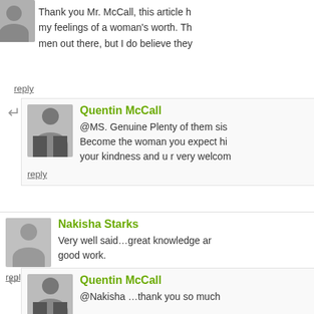Thank you Mr. McCall, this article h... my feelings of a woman's worth. Th... men out there, but I do believe they
reply
Quentin McCall
@MS. Genuine Plenty of them sis... Become the woman you expect hi... your kindness and u r very welcom...
reply
Nakisha Starks
Very well said…great knowledge ar... good work.
reply
Quentin McCall
@Nakisha …thank you so much
reply
Sharron Streat-Hoyle
This was a great article.